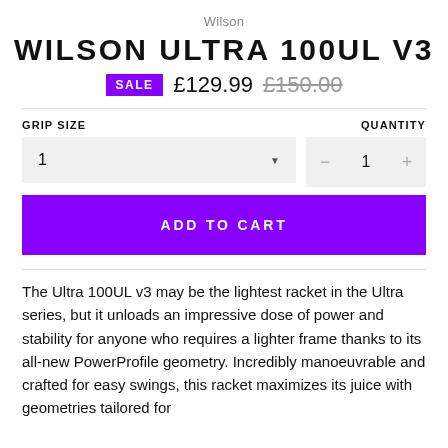Wilson
WILSON ULTRA 100UL V3
SALE £129.99 £150.00
GRIP SIZE
QUANTITY
ADD TO CART
The Ultra 100UL v3 may be the lightest racket in the Ultra series, but it unloads an impressive dose of power and stability for anyone who requires a lighter frame thanks to its all-new PowerProfile geometry. Incredibly manoeuvrable and crafted for easy swings, this racket maximizes its juice with geometries tailored for